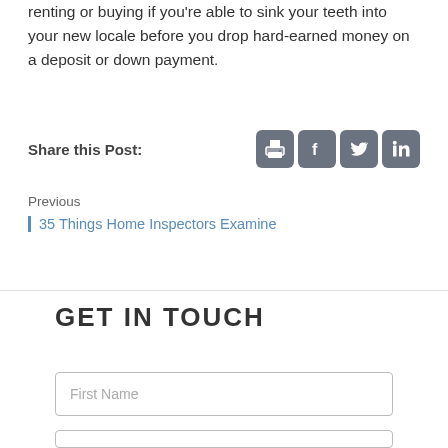you'll be much happier with the home you end up renting or buying if you're able to sink your teeth into your new locale before you drop hard-earned money on a deposit or down payment.
Share this Post:
[Figure (other): Social sharing icons: print, Facebook, Twitter, LinkedIn]
Previous
35 Things Home Inspectors Examine
GET IN TOUCH
First Name